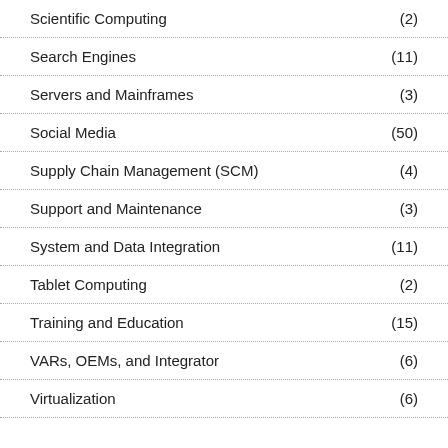Scientific Computing (2)
Search Engines (11)
Servers and Mainframes (3)
Social Media (50)
Supply Chain Management (SCM) (4)
Support and Maintenance (3)
System and Data Integration (11)
Tablet Computing (2)
Training and Education (15)
VARs, OEMs, and Integrator (6)
Virtualization (6)